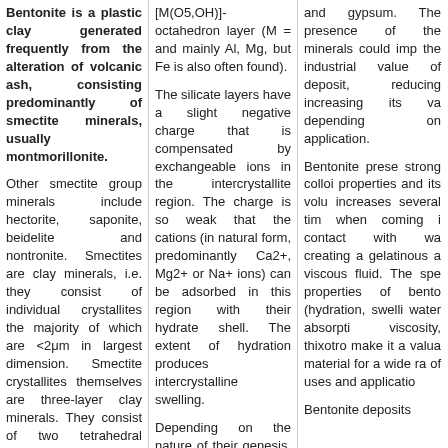Bentonite is a plastic clay generated frequently from the alteration of volcanic ash, consisting predominantly of smectite minerals, usually montmorillonite. Other smectite group minerals include hectorite, saponite, beidelite and nontronite. Smectites are clay minerals, i.e. they consist of individual crystallites the majority of which are <2μm in largest dimension. Smectite crystallites themselves are three-layer clay minerals. They consist of two tetrahedral layers and one octahedral layer.
[M(O5,OH)]-octahedron layer (M = and mainly Al, Mg, but Fe is also often found). The silicate layers have a slight negative charge that is compensated by exchangeable ions in the intercrystallite region. The charge is so weak that the cations (in natural form, predominantly Ca2+, Mg2+ or Na+ ions) can be adsorbed in this region with their hydrate shell. The extent of hydration produces intercrystalline swelling. Depending on the nature of their genesis, bentonites contain a variety of accessory minerals in addition to
and gypsum. The presence of these minerals could improve the industrial value of a deposit, reducing or increasing its value depending on the application. Bentonite presents strong colloidal properties and its volume increases several times when coming in contact with water, creating a gelatinous and viscous fluid. The specific properties of bentonite (hydration, swelling, water absorption, viscosity, thixotropy) make it a valuable material for a wide range of uses and applications. Bentonite deposits